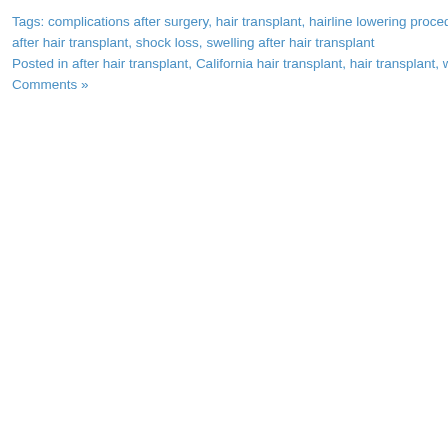Tags: complications after surgery, hair transplant, hairline lowering procedure, mi... after hair transplant, shock loss, swelling after hair transplant
Posted in after hair transplant, California hair transplant, hair transplant, wo... Comments »